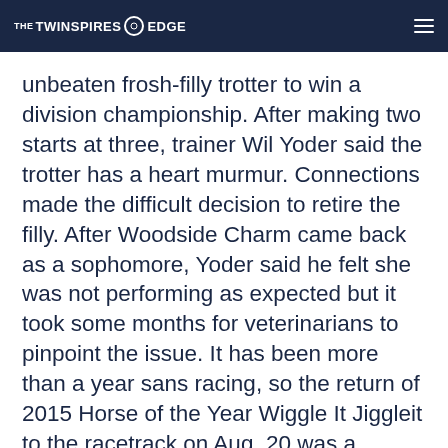THE TWINSPIRES EDGE
unbeaten frosh-filly trotter to win a division championship. After making two starts at three, trainer Wil Yoder said the trotter has a heart murmur. Connections made the difficult decision to retire the filly. After Woodside Charm came back as a sophomore, Yoder said he felt she was not performing as expected but it took some months for veterinarians to pinpoint the issue. It has been more than a year sans racing, so the return of 2015 Horse of the Year Wiggle It Jiggleit to the racetrack on Aug. 20 was a newsworthy event, even if it was only in qualifying